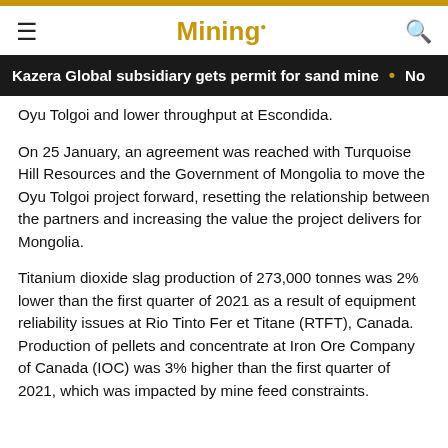Mining.
Kazera Global subsidiary gets permit for sand mine • No
Oyu Tolgoi and lower throughput at Escondida.
On 25 January, an agreement was reached with Turquoise Hill Resources and the Government of Mongolia to move the Oyu Tolgoi project forward, resetting the relationship between the partners and increasing the value the project delivers for Mongolia.
Titanium dioxide slag production of 273,000 tonnes was 2% lower than the first quarter of 2021 as a result of equipment reliability issues at Rio Tinto Fer et Titane (RTFT), Canada. Production of pellets and concentrate at Iron Ore Company of Canada (IOC) was 3% higher than the first quarter of 2021, which was impacted by mine feed constraints.